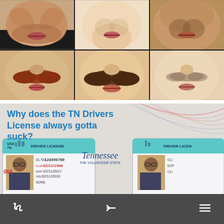[Figure (photo): 6-panel photo grid showing close-up facial hair/mustache progression photos of a man, arranged in 2 rows of 3 columns]
[Figure (photo): Image of a Tennessee Driver License with text overlay reading 'Why does the TN Drivers License always gotta suck?' showing a sample license with DL NO 123456789, DOB 02/11/1966, EXP 02/11/2017, ISS 02/11/2010]
Navigation bar with back arrow, menu icon, and logo